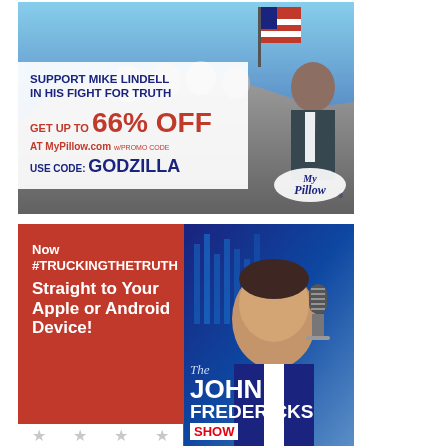[Figure (infographic): MyPillow advertisement featuring Mount Rushmore background with American flag, man in suit holding flag. Text: 'SUPPORT MIKE LINDELL IN HIS FIGHT FOR TRUTH', 'GET UP TO 66% OFF', 'AT MyPillow.com w/PROMO CODE', 'USE CODE: GODZILLA'. MyPillow logo visible.]
[Figure (infographic): The John Fredericks Show advertisement on red background. Text: 'Now #TRUCKINGTHETRUTH Straight to Your Apple or Android Device!' with show logo featuring the host's photo, a microphone, and text 'The JOHN FREDERICKS SHOW'. Stars decoration at bottom left.]